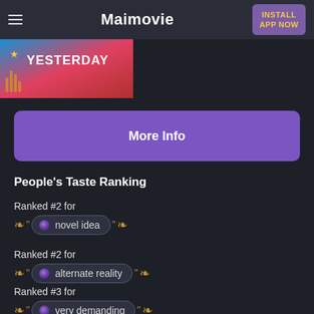Maimovie | INSTALL APP NOW
[Figure (photo): Movie banner showing 'YESTERDAY' text with colorful background]
More Info
People's Taste Ranking
Ranked #2 for
novel idea
Ranked #2 for
alternate reality
Ranked #3 for
very demanding